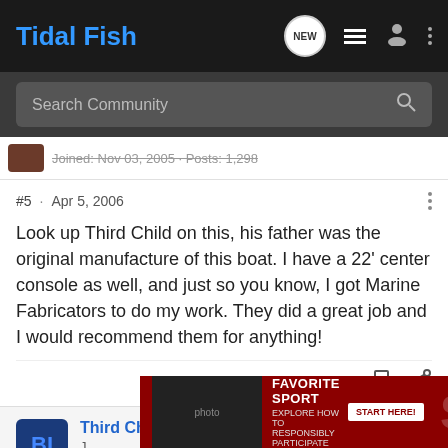Tidal Fish
Search Community
#5 · Apr 5, 2006
Look up Third Child on this, his father was the original manufacture of this boat. I have a 22' center console as well, and just so you know, I got Marine Fabricators to do my work. They did a great job and I would recommend them for anything!
Third Child · Registered
[Figure (screenshot): Advertisement overlay: dark red banner reading YOUR NEW FAVORITE SPORT - EXPLORE HOW TO RESPONSIBLY PARTICIPATE IN THE SHOOTING SPORTS. START HERE!]